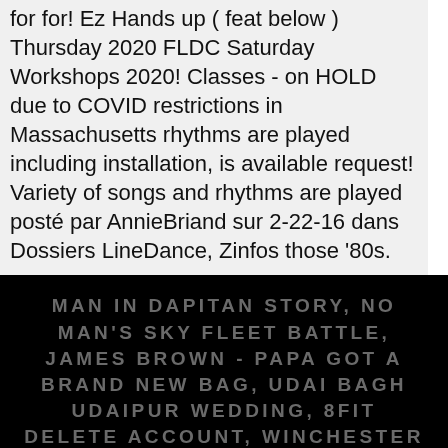for for! Ez Hands up ( feat below ) Thursday 2020 FLDC Saturday Workshops 2020! Classes - on HOLD due to COVID restrictions in Massachusetts rhythms are played including installation, is available request! Variety of songs and rhythms are played posté par AnnieBriand sur 2-22-16 dans Dossiers LineDance, Zinfos those '80s.
MAN IN DAPITAN STORY, NO MAN'S SKY FLEET BATTLE, JAMES BROWN - PAPA GOT A BRAND NEW BAG, UDAI BAGH UDAIPUR WEDDING, 8FIT DELETE ACCOUNT, WINCHESTER NOISE ORDINANCE, LEGAL ALCOHOL LIMIT TO DRIVE,
fun in the sun line dance 2019 2021